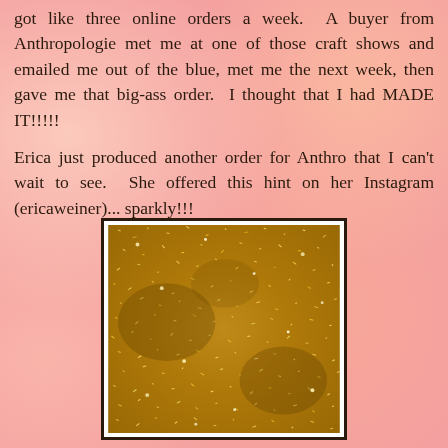got like three online orders a week.  A buyer from Anthropologie met me at one of those craft shows and emailed me out of the blue, met me the next week, then gave me that big-ass order.  I thought that I had MADE IT!!!!!

Erica just produced another order for Anthro that I can't wait to see.  She offered this hint on her Instagram (ericaweiner)... sparkly!!!
[Figure (photo): Close-up photo of gold/bronze glitter or metallic flakes, sparkly material filling the entire frame, with a black border and white mat.]